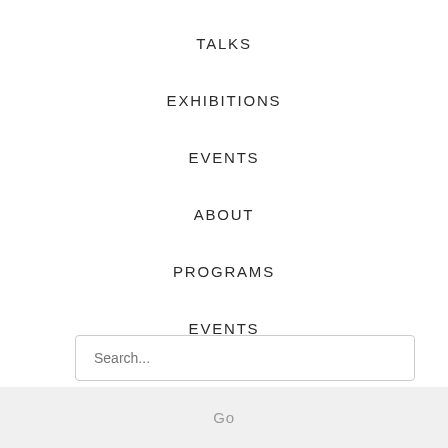TALKS
EXHIBITIONS
EVENTS
ABOUT
PROGRAMS
EVENTS
Search...
Go